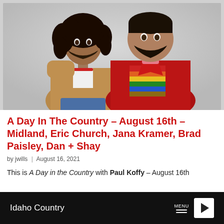[Figure (photo): Two men posing against a light gray background. Left person has long curly dark hair, beard, wearing a tan/brown jacket over a white t-shirt with red trim, and jeans. Right person is larger, wearing a red jacket over a multicolored striped shirt (rainbow stripes).]
A Day In The Country – August 16th – Midland, Eric Church, Jana Kramer, Brad Paisley, Dan + Shay
by jwills  |  August 16, 2021
This is A Day in the Country with Paul Koffy – August 16th
Idaho Country  MENU